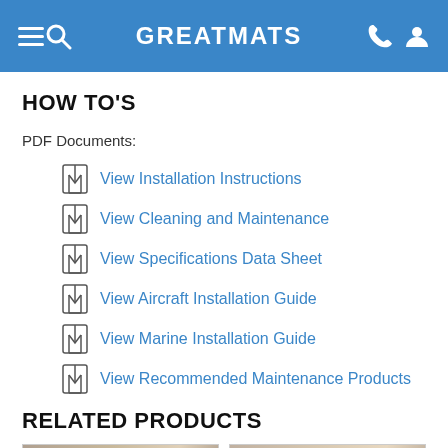GREATMATS
HOW TO'S
PDF Documents:
View Installation Instructions
View Cleaning and Maintenance
View Specifications Data Sheet
View Aircraft Installation Guide
View Marine Installation Guide
View Recommended Maintenance Products
RELATED PRODUCTS
[Figure (photo): Two product thumbnail images at the bottom of the page]